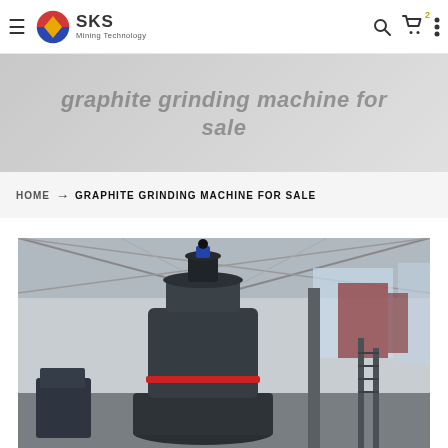SKS Mining Technology — navigation bar with hamburger menu, logo, search, cart (2 items), and more options
graphite grinding machine for sale
HOME → GRAPHITE GRINDING MACHINE FOR SALE
[Figure (photo): Industrial graphite grinding machine (large dark cylindrical mill) inside a factory/warehouse with metal roof structure and natural lighting through windows]